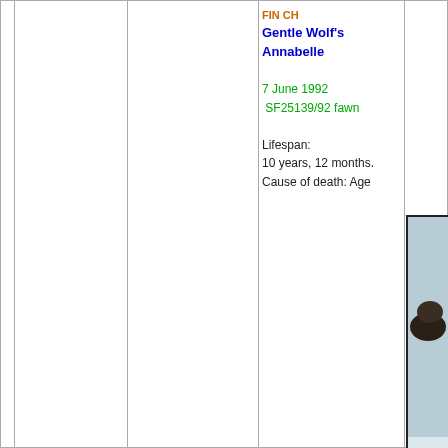FIN CH
Gentle Wolf's Annabelle
7 June 1992
SF25139/92 fawn
Lifespan:
10 years, 12 months.
Cause of death: Age
[Figure (photo): Photo of a dog (appears to be a Greyhound or similar breed) running or standing in snow, dark colored dog against light snowy background.]
FI EE CH EE...
Cazavina...
11 July 19...
S46687/...
Lifespan:
11 years,...
Cause of weak beh...
Breeder:...